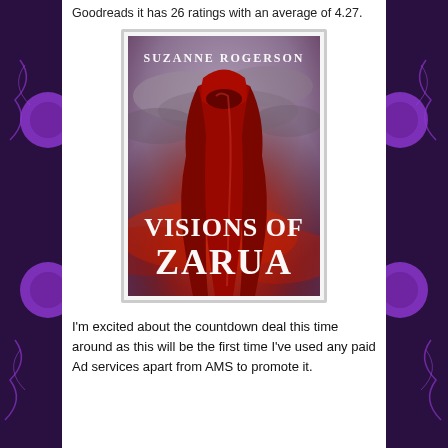Goodreads it has 26 ratings with an average of 4.27.
[Figure (illustration): Book cover for 'Visions of Zarua' by Suzanne Rogerson. Shows a hooded figure in a red cloak against a dramatic red and grey cloudy sky. The title 'VISIONS OF ZARUA' appears in large white serif text at the bottom, and 'SUZANNE ROGERSON' appears at the top in white text.]
I'm excited about the countdown deal this time around as this will be the first time I've used any paid Ad services apart from AMS to promote it.